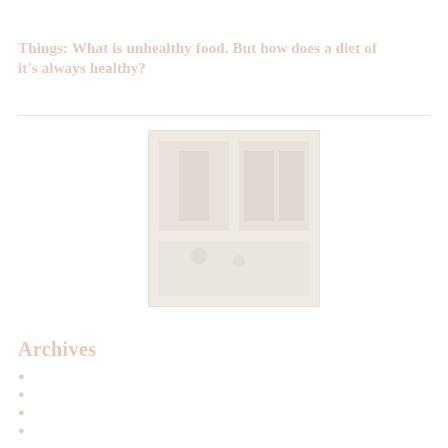Things: What is unhealthy food. But how does a diet of it's always healthy?
[Figure (photo): Faded photograph of an interior room or kitchen scene]
Archives